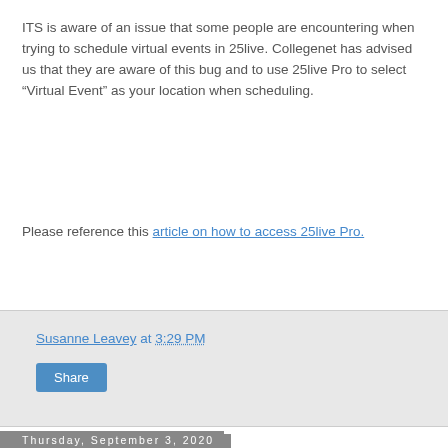ITS is aware of an issue that some people are encountering when trying to schedule virtual events in 25live. Collegenet has advised us that they are aware of this bug and to use 25live Pro to select “Virtual Event” as your location when scheduling.
Please reference this article on how to access 25live Pro.
Susanne Leavey at 3:29 PM
Share
Thursday, September 3, 2020
RESOLVED: Network Outage in RLC
RESOLVED: As of 4:15, the network has been restored to RLC. We apologize for this inconvenience.